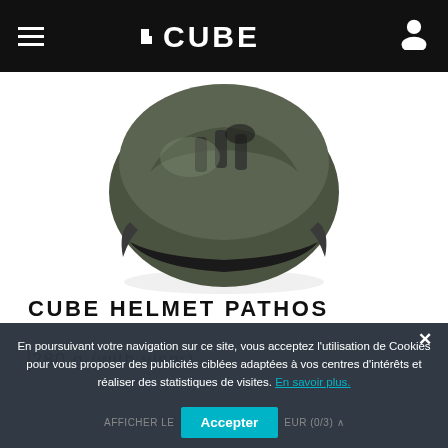CUBE — navigation bar with hamburger menu and user icon
[Figure (photo): Partial view of a CUBE bicycle helmet (Pathos model) in olive green/dark color, showing the top and front visor portion against a white background]
CUBE HELMET PATHOS
280 g (with visor)
En poursuivant votre navigation sur ce site, vous acceptez l'utilisation de Cookies pour vous proposer des publicités ciblées adaptées à vos centres d'intérêts et réaliser des statistiques de visites. En savoir plus.
AFFICHER LE … EUR (0/3) Accepter